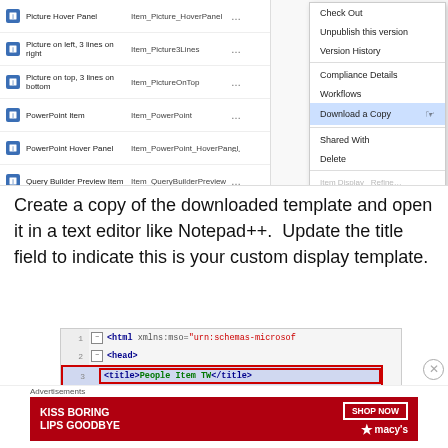[Figure (screenshot): SharePoint list of display templates with a context menu showing options: Check Out, Unpublish this version, Version History, Compliance Details, Workflows, Download a Copy (highlighted), Shared With, Delete]
Create a copy of the downloaded template and open it in a text editor like Notepad++.  Update the title field to indicate this is your custom display template.
[Figure (screenshot): Code editor showing HTML with line numbers. Line 1: <html xmlns:mso="urn:schemas-microsof, Line 2: <head>, Line 3: <title>People Item TW</title> (highlighted with red border), Line 4: (empty), Line 5: <!--[if gte mso 9]><xml>]
[Figure (screenshot): Advertisement banner: KISS BORING LIPS GOODBYE - SHOP NOW - macys]